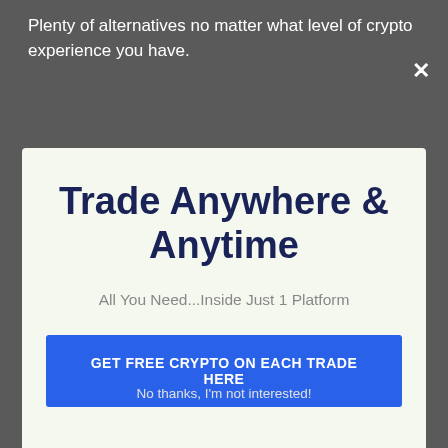Plenty of alternatives no matter what level of crypto experience you have.
[Figure (screenshot): Modal popup overlay on a dark webpage background showing a trading platform advertisement]
Trade Anywhere & Anytime
All You Need...Inside Just 1 Platform
GET FREE CRYPTO ON EACH TRADE HERE
No thanks, I'm not interested!
[Figure (photo): Dark background image with large bold italic text reading GUIDE]